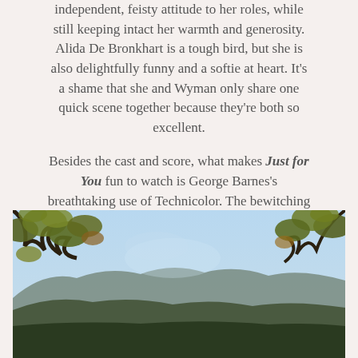independent, feisty attitude to her roles, while still keeping intact her warmth and generosity. Alida De Bronkhart is a tough bird, but she is also delightfully funny and a softie at heart. It's a shame that she and Wyman only share one quick scene together because they're both so excellent.

Besides the cast and score, what makes Just for You fun to watch is George Barnes's breathtaking use of Technicolor. The bewitching blues of Crosby's eyes, the lake, and the sky are a sight to behold in particular. (Location scenes, by the way, were filmed at Lake Arrowhead, California and at Big Bear Lake in the San Bernardino National Forest.)
[Figure (photo): Outdoor landscape photo showing trees with leaves in the foreground framing a view of mountains under a blue sky, likely taken at Lake Arrowhead or Big Bear Lake in the San Bernardino National Forest.]